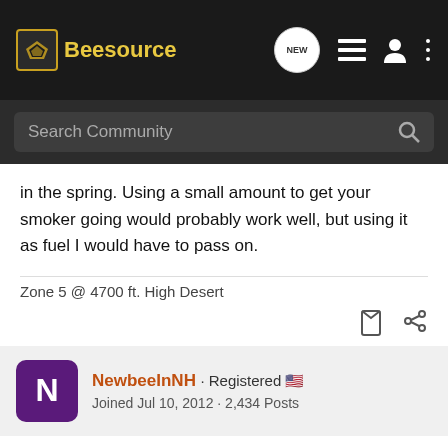Beesource
Search Community
in the spring. Using a small amount to get your smoker going would probably work well, but using it as fuel I would have to pass on.
Zone 5 @ 4700 ft. High Desert
NewbeeInNH · Registered
Joined Jul 10, 2012 · 2,434 Posts
Discussion Starter · #15 · Jun 25, 2014